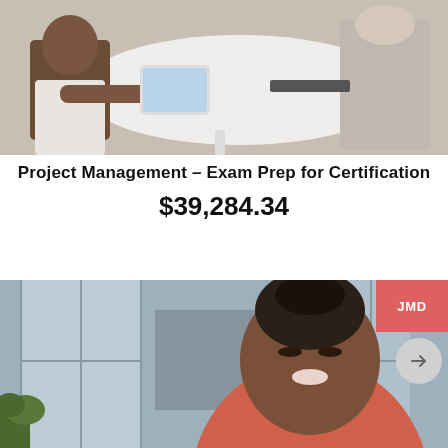[Figure (photo): Two people sitting at a white round table, one using a tablet device, office setting]
Project Management – Exam Prep for Certification
$39,284.34
[Figure (photo): Smiling woman wearing a coral/salmon colored top, looking down, bright office environment with windows in background]
[Figure (other): JMD badge/label in salmon-pink color at top right of second photo]